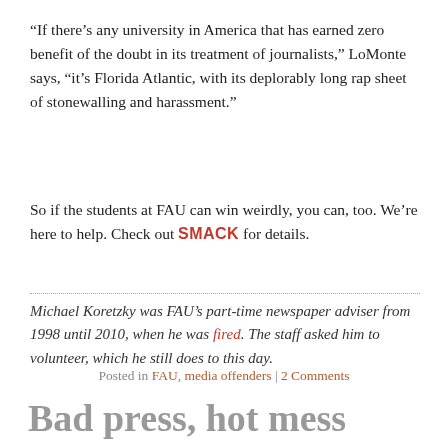“If there’s any university in America that has earned zero benefit of the doubt in its treatment of journalists,” LoMonte says, “it’s Florida Atlantic, with its deplorably long rap sheet of stonewalling and harassment.”
So if the students at FAU can win weirdly, you can, too. We’re here to help. Check out SMACK for details.
Michael Koretzky was FAU’s part-time newspaper adviser from 1998 until 2010, when he was fired. The staff asked him to volunteer, which he still does to this day.
Posted in FAU, media offenders | 2 Comments
Bad press, hot mess